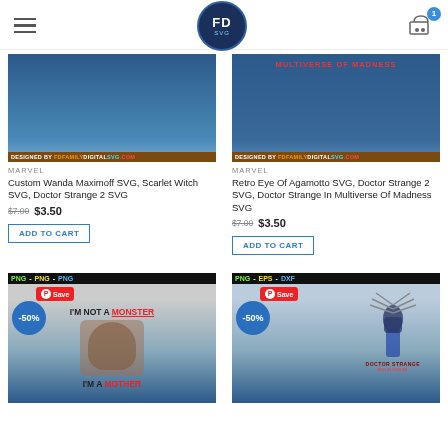FD SVG logo, hamburger menu, cart with badge 1
[Figure (screenshot): Product image for Custom Wanda Maximoff SVG with watermark DESIGNED BY FD FAMILYDIGITALSVG.COM]
MARVEL
Custom Wanda Maximoff SVG, Scarlet Witch SVG, Doctor Strange 2 SVG
$7.00  $3.50
ADD TO CART
[Figure (screenshot): Product image for Retro Eye Of Agamotto SVG with text MULTIVERSE OF MADNESS and watermark DESIGNED BY FD FAMILYDIGITALSVG.COM]
MARVEL
Retro Eye Of Agamotto SVG, Doctor Strange 2 SVG, Doctor Strange In Multiverse Of Madness SVG
$7.00  $3.50
ADD TO CART
[Figure (screenshot): Product image: I'm Not A MONSTER I'm A MOTHER with Wanda face illustration, PNG bar, -50% badge, Save button]
[Figure (screenshot): Product image: Doctor Strange multiverse figure with PNG-EPS-DXF bar, -50% badge, Save button, DOCTOR STRANGE MULTIVERSE text]